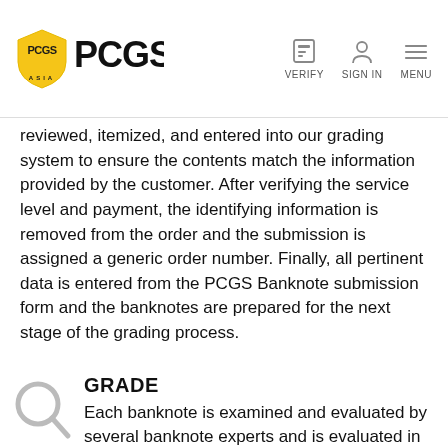PCGS ASIA — VERIFY | SIGN IN | MENU
reviewed, itemized, and entered into our grading system to ensure the contents match the information provided by the customer. After verifying the service level and payment, the identifying information is removed from the order and the submission is assigned a generic order number. Finally, all pertinent data is entered from the PCGS Banknote submission form and the banknotes are prepared for the next stage of the grading process.
GRADE
Each banknote is examined and evaluated by several banknote experts and is evaluated in accordance with the established PCGS Banknote Grading Standards. Each order is distributed to graders based on their particular skills and expertise. While the graders are generally trained to handle banknotes from virtually all eras they